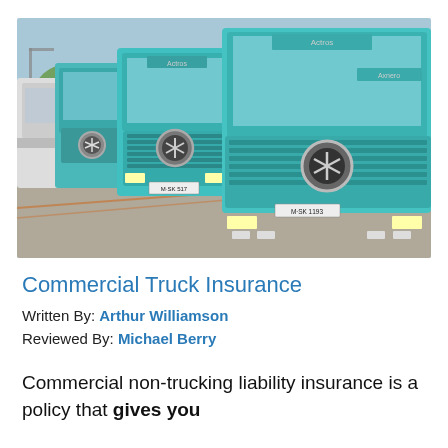[Figure (photo): A row of teal/turquoise Mercedes-Benz commercial trucks lined up in a parking area, viewed from the front at an angle. License plates visible including M-SK 1193.]
Commercial Truck Insurance
Written By: Arthur Williamson
Reviewed By: Michael Berry
Commercial non-trucking liability insurance is a policy that gives you